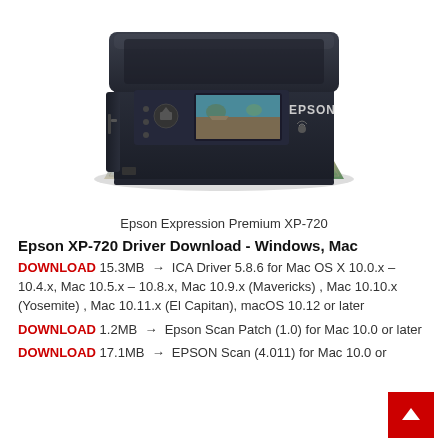[Figure (photo): Epson Expression Premium XP-720 printer with a printed photo of boats on a dock emerging from the paper tray. The printer is dark navy/black with an LCD screen showing the same boat image.]
Epson Expression Premium XP-720
Epson XP-720 Driver Download - Windows, Mac
DOWNLOAD 15.3MB → ICA Driver 5.8.6 for Mac OS X 10.0.x – 10.4.x, Mac 10.5.x – 10.8.x, Mac 10.9.x (Mavericks) , Mac 10.10.x (Yosemite) , Mac 10.11.x (El Capitan), macOS 10.12 or later
DOWNLOAD 1.2MB → Epson Scan Patch (1.0) for Mac 10.0 or later
DOWNLOAD 17.1MB → EPSON Scan (4.011) for Mac 10.0 or